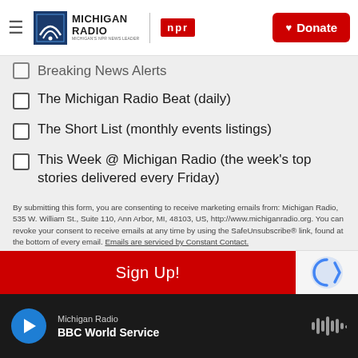Michigan Radio NPR | Donate
Breaking News Alerts
The Michigan Radio Beat (daily)
The Short List (monthly events listings)
This Week @ Michigan Radio (the week's top stories delivered every Friday)
By submitting this form, you are consenting to receive marketing emails from: Michigan Radio, 535 W. William St., Suite 110, Ann Arbor, MI, 48103, US, http://www.michiganradio.org. You can revoke your consent to receive emails at any time by using the SafeUnsubscribe® link, found at the bottom of every email. Emails are serviced by Constant Contact.
Sign Up!
Michigan Radio | BBC World Service